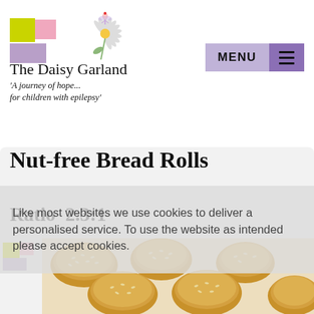[Figure (logo): The Daisy Garland charity logo with colored blocks (yellow, pink, purple) and a daisy flower illustration]
The Daisy Garland
'A journey of hope... for children with epilepsy'
[Figure (other): Menu navigation button with light purple MENU text box and darker purple hamburger icon box]
Nut-free Bread Rolls
Ratio  2.3:1
Like most websites we use cookies to deliver a personalised service. To use the website as intended please accept cookies.
[Figure (photo): Photo of sesame-seed topped bread rolls arranged on a baking tray lined with parchment paper]